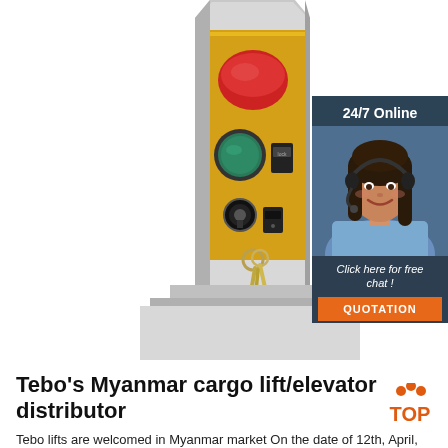[Figure (photo): Close-up photo of a yellow elevator/cargo lift control panel with a red button on top, a green circular button, a key lock, and hanging keys on a metallic background]
[Figure (photo): Side banner showing a woman wearing a headset smiling, with '24/7 Online' header and 'Click here for free chat!' text and an orange QUOTATION button]
Tebo's Myanmar cargo lift/elevator distributor
Tebo lifts are welcomed in Myanmar market On the date of 12th, April, 2020, Tebo's Myanmar hydraulic cargo lift